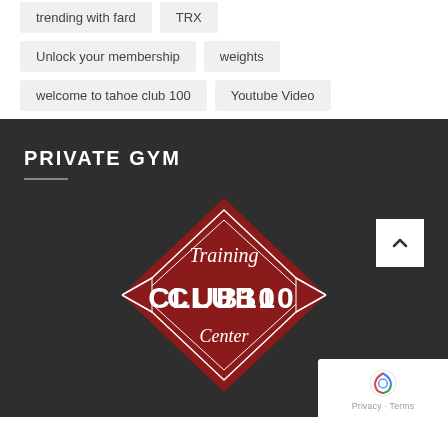trending with fard
TRX
Unlock your membership
weights
welcome to tahoe club 100
Youtube Video
PRIVATE GYM
[Figure (logo): Training Club 100 Center diamond-shaped logo in dark red with white text and decorative border lines]